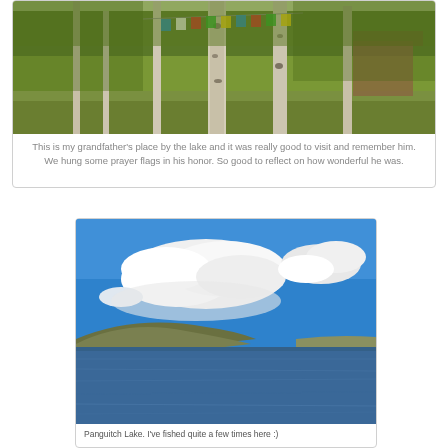[Figure (photo): Outdoor forest scene with aspen trees, grassy ground, and colorful prayer flags strung between trees. A wooden structure is visible in the background on the right.]
This is my grandfather's place by the lake and it was really good to visit and remember him. We hung some prayer flags in his honor. So good to reflect on how wonderful he was.
[Figure (photo): Panoramic view of Panguitch Lake under a blue sky with large white clouds. Rolling hills visible on the left shore, calm blue water in the foreground.]
Panguitch Lake. I've fished quite a few times here :)